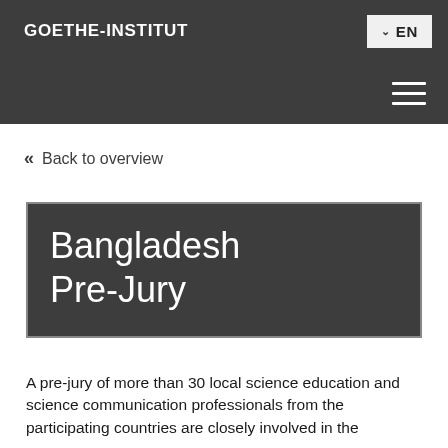GOETHE-INSTITUT
EN
Back to overview
Bangladesh Pre-Jury
A pre-jury of more than 30 local science education and science communication professionals from the participating countries are closely involved in the